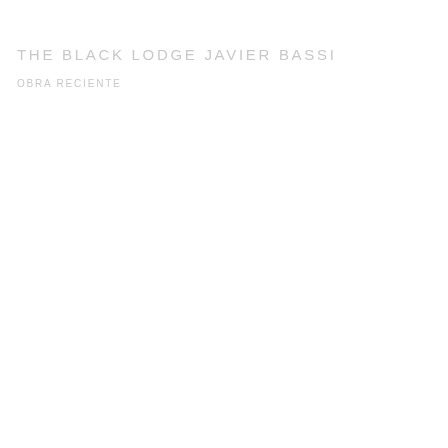THE BLACK LODGE JAVIER BASSI
OBRA RECIENTE